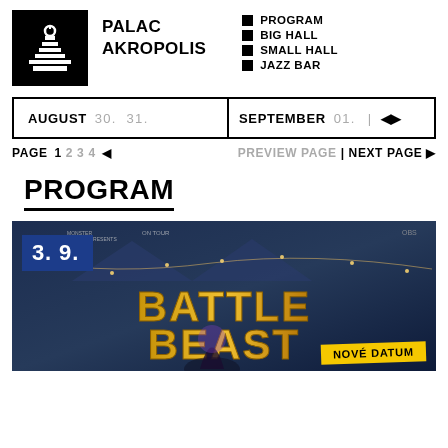[Figure (logo): Palac Akropolis circular building logo in white on black background]
PALAC AKROPOLIS
PROGRAM
BIG HALL
SMALL HALL
JAZZ BAR
AUGUST  30. 31.  |  SEPTEMBER  01.  | ◄ ►
PAGE 1 2 3 4 ◄   PREVIEW PAGE | NEXT PAGE ►
PROGRAM
[Figure (photo): Battle Beast concert promotional image with date badge 3. 9. in blue, fantasy/metal band logo Battle Beast text, dark fantasy background with circus tent and lights, Nove Datum label in yellow at bottom right]